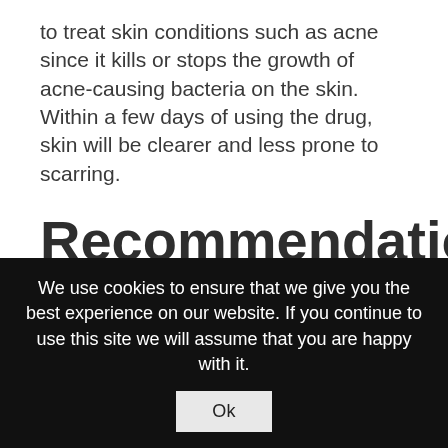to treat skin conditions such as acne since it kills or stops the growth of acne-causing bacteria on the skin. Within a few days of using the drug, skin will be clearer and less prone to scarring.
Recommendations for use
Azithromycin by Hab Pharmaceuticals is produced in tablets of 500mg. The recommended dosage is generally 1 tablet per
We use cookies to ensure that we give you the best experience on our website. If you continue to use this site we will assume that you are happy with it.